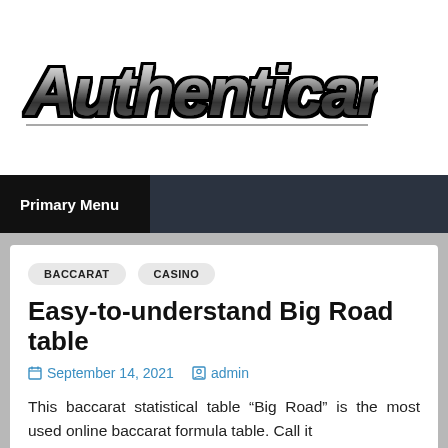[Figure (logo): Authenticangelsshop website logo in large italic bold graffiti-style text with metallic gradient and black outline]
Primary Menu
BACCARAT
CASINO
Easy-to-understand Big Road table
September 14, 2021   admin
This baccarat statistical table “Big Road” is the most used online baccarat formula table. Call it